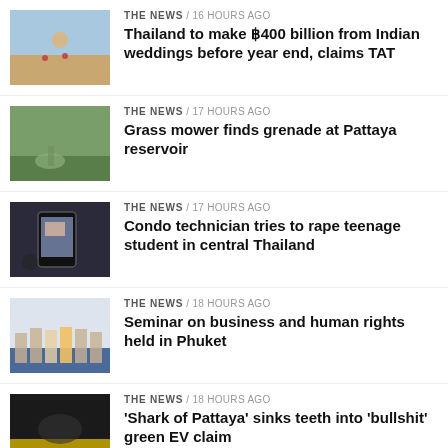THE NEWS / 16 hours ago — Thailand to make ฿400 billion from Indian weddings before year end, claims TAT
THE NEWS / 17 hours ago — Grass mower finds grenade at Pattaya reservoir
THE NEWS / 17 hours ago — Condo technician tries to rape teenage student in central Thailand
THE NEWS / 18 hours ago — Seminar on business and human rights held in Phuket
THE NEWS / 18 hours ago — 'Shark of Pattaya' sinks teeth into 'bullshit' green EV claim
TRENDING
THE NEWS / 3 days ago — Southeast Asia...